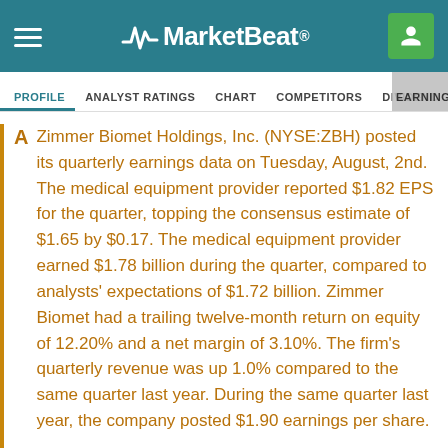MarketBeat
PROFILE  ANALYST RATINGS  CHART  COMPETITORS  DIVIDEND  EARNINGS
Zimmer Biomet Holdings, Inc. (NYSE:ZBH) posted its quarterly earnings data on Tuesday, August, 2nd. The medical equipment provider reported $1.82 EPS for the quarter, topping the consensus estimate of $1.65 by $0.17. The medical equipment provider earned $1.78 billion during the quarter, compared to analysts' expectations of $1.72 billion. Zimmer Biomet had a trailing twelve-month return on equity of 12.20% and a net margin of 3.10%. The firm's quarterly revenue was up 1.0% compared to the same quarter last year. During the same quarter last year, the company posted $1.90 earnings per share.
Read the conference call transcript